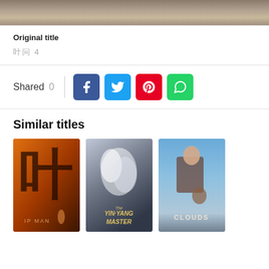[Figure (photo): Partial top image, appears to be an outdoor rocky/nature scene]
Original title
叶问 4
Shared 0
[Figure (infographic): Social share buttons: Facebook, Twitter, Pinterest, WhatsApp]
Similar titles
[Figure (photo): Movie poster: Ip Man (Chinese martial arts film with orange/warm tones and Chinese calligraphy)]
[Figure (photo): Movie poster: The Yin-Yang Master (dark atmospheric fantasy with swirling white figures)]
[Figure (photo): Movie poster: Clouds (young man with guitar against blue sky background)]